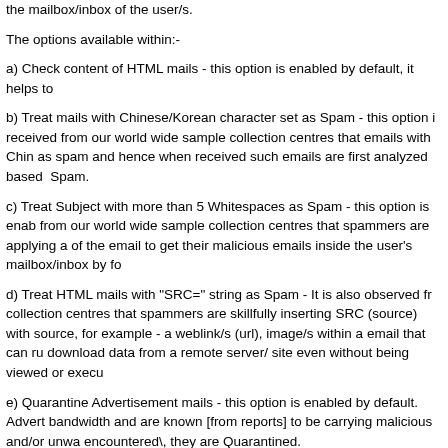the mailbox/inbox of the user/s.
The options available within:-
a) Check content of HTML mails - this option is enabled by default, it helps to
b) Treat mails with Chinese/Korean character set as Spam - this option i received from our world wide sample collection centres that emails with Chin as spam and hence when received such emails are first analyzed based Spam.
c) Treat Subject with more than 5 Whitespaces as Spam - this option is ena from our world wide sample collection centres that spammers are applying a of the email to get their malicious emails inside the user's mailbox/inbox by fo
d) Treat HTML mails with "SRC=" string as Spam - It is also observed fr collection centres that spammers are skillfully inserting SRC (source) with source, for example - a weblink/s (url), image/s within a email that can ru download data from a remote server/ site even without being viewed or execu
e) Quarantine Advertisement mails - this option is enabled by default. Advert bandwidth and are known [from reports] to be carrying malicious and/or unwa encountered\, they are Quarantined.
The Advanced option within -
a) Enable Non Intrusive Learning Pattern (NILP) check - this option is enabl an advanced Bayesian Filtering method with the intelligence to analyze each